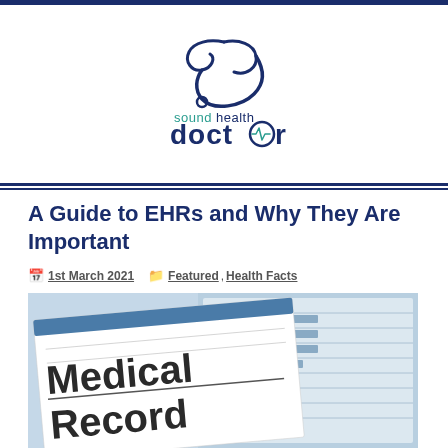[Figure (logo): Sound Health Doctor logo with stethoscope icon above text 'soundhealth doctor' in dark blue and teal]
A Guide to EHRs and Why They Are Important
1st March 2021   Featured, Health Facts
[Figure (photo): Photo of a Medical Record document with 'Medical Record' printed in large bold text, with medical forms visible in the background]